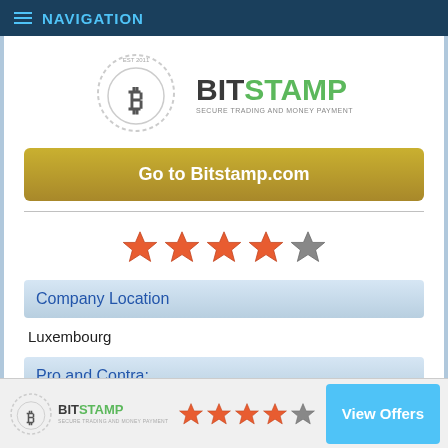NAVIGATION
[Figure (logo): Bitstamp logo with bitcoin stamp icon and text BITSTAMP SECURE TRADING AND MONEY PAYMENT]
Go to Bitstamp.com
[Figure (other): 4 out of 5 stars rating — four red/orange stars and one grey star]
Company Location
Luxembourg
Pro and Contra:
Pro:
Good reputation
High volume and liquidity
Connections in the industry grant it additional legitimacy
Bitstamp — 4 out of 5 stars — View Offers